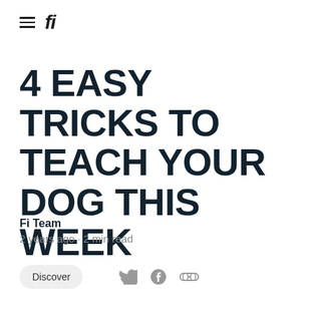fi
4 EASY TRICKS TO TEACH YOUR DOG THIS WEEK
Fi Team
2 years ago · 2 min read
Discover